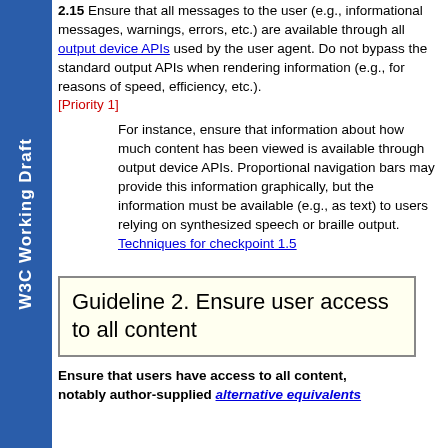2.15 Ensure that all messages to the user (e.g., informational messages, warnings, errors, etc.) are available through all output device APIs used by the user agent. Do not bypass the standard output APIs when rendering information (e.g., for reasons of speed, efficiency, etc.). [Priority 1]
For instance, ensure that information about how much content has been viewed is available through output device APIs. Proportional navigation bars may provide this information graphically, but the information must be available (e.g., as text) to users relying on synthesized speech or braille output. Techniques for checkpoint 1.5
Guideline 2. Ensure user access to all content
Ensure that users have access to all content, notably author-supplied alternative equivalents